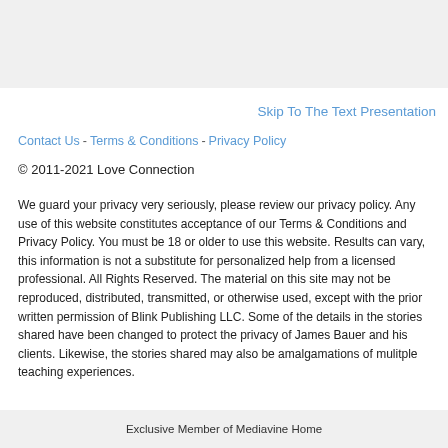Skip To The Text Presentation
Contact Us - Terms & Conditions - Privacy Policy
© 2011-2021 Love Connection
We guard your privacy very seriously, please review our privacy policy. Any use of this website constitutes acceptance of our Terms & Conditions and Privacy Policy. You must be 18 or older to use this website. Results can vary, this information is not a substitute for personalized help from a licensed professional. All Rights Reserved. The material on this site may not be reproduced, distributed, transmitted, or otherwise used, except with the prior written permission of Blink Publishing LLC. Some of the details in the stories shared have been changed to protect the privacy of James Bauer and his clients. Likewise, the stories shared may also be amalgamations of mulitple teaching experiences.
Exclusive Member of Mediavine Home